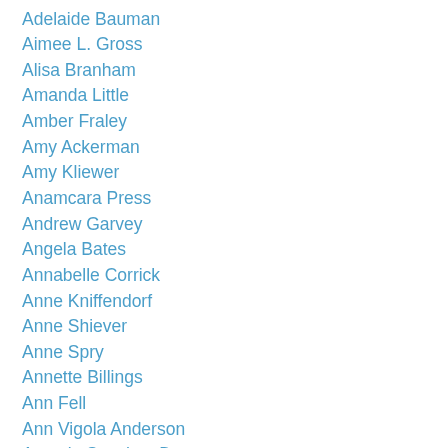Adelaide Bauman
Aimee L. Gross
Alisa Branham
Amanda Little
Amber Fraley
Amy Ackerman
Amy Kliewer
Anamcara Press
Andrew Garvey
Angela Bates
Annabelle Corrick
Anne Kniffendorf
Anne Shiever
Anne Spry
Annette Billings
Ann Fell
Ann Vigola Anderson
Antonio Sanchez Day
Antonio Sanchez-Day
April Pameticky
Arlene Reina Grabar